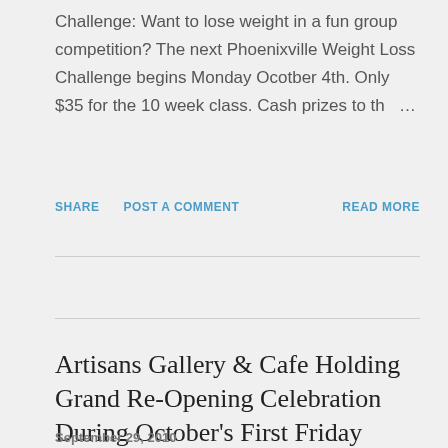Challenge: Want to lose weight in a fun group competition? The next Phoenixville Weight Loss Challenge begins Monday Ocotber 4th. Only $35 for the 10 week class. Cash prizes to th …
SHARE   POST A COMMENT   READ MORE
Artisans Gallery & Cafe Holding Grand Re-Opening Celebration During October's First Friday
September 29, 2010